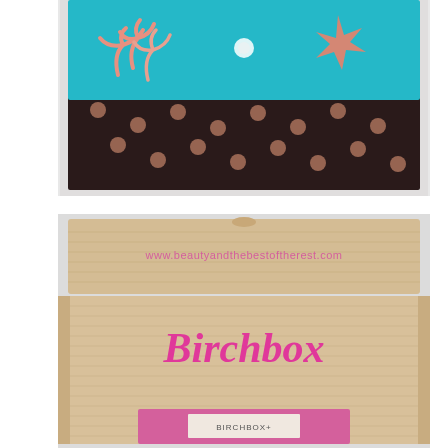[Figure (photo): A Birchbox subscription box photographed from the side showing the decorative exterior lid open. The lid interior features a bright turquoise/teal background with a pink starfish and pink coral design. The exterior of the box is dark brown/black with pink polka dot pattern. The box sits on a white surface.]
[Figure (photo): An open Birchbox cardboard shipping box photographed from above. The inner flap shows a watermark URL 'www.beautyandthebestoftherest.com' in pink text. The interior of the corrugated cardboard box displays the 'Birchbox' brand name in hot pink cursive/script font. Inside the box is a smaller pink rectangular box with a label reading 'BIRCHBOX+' visible at the bottom.]